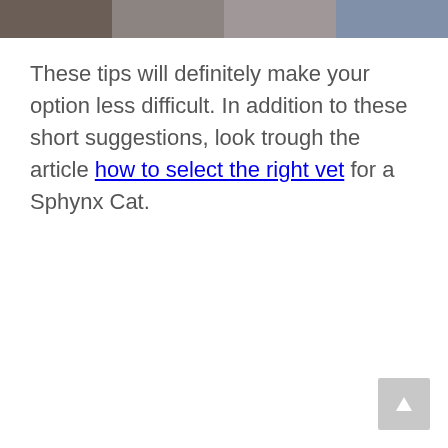[Figure (photo): Partial view of cats or animals at the top of the page, cropped image strip showing fur and background]
These tips will definitely make your option less difficult. In addition to these short suggestions, look trough the article how to select the right vet for a Sphynx Cat.